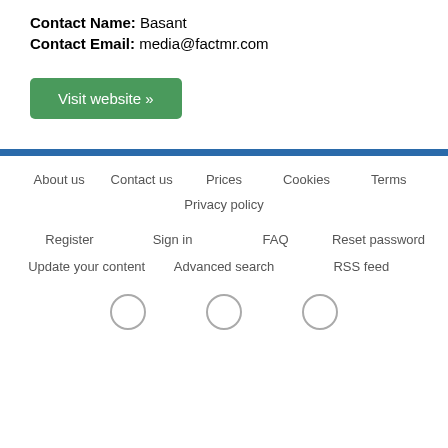Contact Name: Basant
Contact Email: media@factmr.com
Visit website »
About us  Contact us  Prices  Cookies  Terms
Privacy policy
Register  Sign in  FAQ  Reset password
Update your content  Advanced search  RSS feed